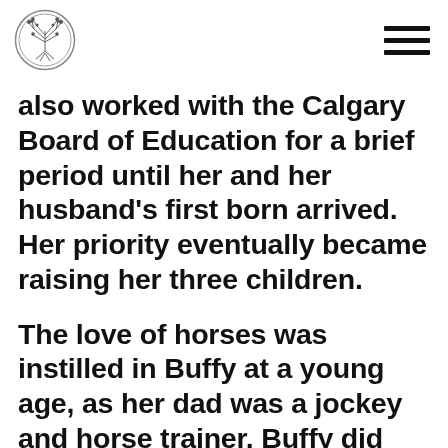[Logo and navigation menu]
also worked with the Calgary Board of Education for a brief period until her and her husband's first born arrived. Her priority eventually became raising her three children.
The love of horses was instilled in Buffy at a young age, as her dad was a jockey and horse trainer. Buffy did not anticipate